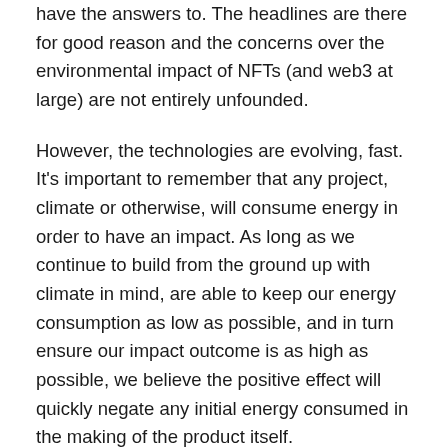have the answers to. The headlines are there for good reason and the concerns over the environmental impact of NFTs (and web3 at large) are not entirely unfounded.
However, the technologies are evolving, fast. It's important to remember that any project, climate or otherwise, will consume energy in order to have an impact. As long as we continue to build from the ground up with climate in mind, are able to keep our energy consumption as low as possible, and in turn ensure our impact outcome is as high as possible, we believe the positive effect will quickly negate any initial energy consumed in the making of the product itself.
Paradigm's values are focused on creating an open, honest, trustworthy and transparent product for its users, and in order for us to do that we must be able to